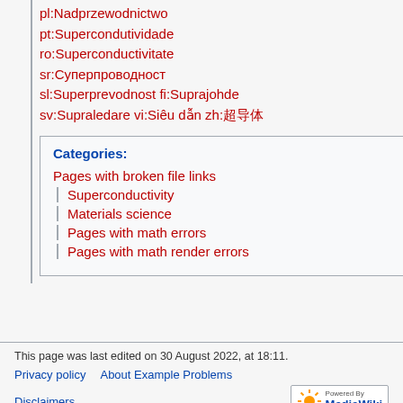pl:Nadprzewodnictwo
pt:Supercondutividade
ro:Superconductivitate
sr:Суперпроводност
sl:Superprevodnost fi:Suprajohde
sv:Supraledare vi:Siêu dẫn zh:超导体
Categories:
Pages with broken file links
Superconductivity
Materials science
Pages with math errors
Pages with math render errors
This page was last edited on 30 August 2022, at 18:11.
Privacy policy · About Example Problems · Disclaimers